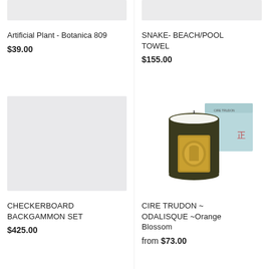[Figure (photo): Partial top image strip for Artificial Plant - Botanica 809, light gray background placeholder]
Artificial Plant - Botanica 809
$39.00
[Figure (photo): Partial top image strip for SNAKE- BEACH/POOL TOWEL, light gray background placeholder]
SNAKE- BEACH/POOL TOWEL
$155.00
[Figure (photo): Light gray placeholder image for CHECKERBOARD BACKGAMMON SET]
CHECKERBOARD BACKGAMMON SET
$425.00
[Figure (photo): Photo of a Cire Trudon Odalisque candle in dark green glass jar with gold emblem, beside a light blue branded gift box]
CIRE TRUDON ~ ODALISQUE ~Orange Blossom
from $73.00